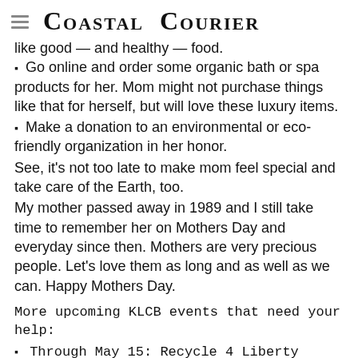Coastal Courier
like good — and healthy — food.
Go online and order some organic bath or spa products for her. Mom might not purchase things like that for herself, but will love these luxury items.
Make a donation to an environmental or eco-friendly organization in her honor.
See, it's not too late to make mom feel special and take care of the Earth, too.
My mother passed away in 1989 and I still take time to remember her on Mothers Day and everyday since then. Mothers are very precious people. Let's love them as long and as well as we can. Happy Mothers Day.
More upcoming KLCB events that need your help:
Through May 15: Recycle 4 Liberty contest in schools. Schools will collect PET #1 plastic bottles and the tops of aluminum cans.